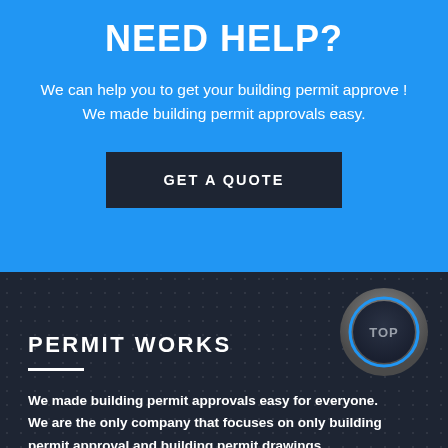NEED HELP?
We can help you to get your building permit approve ! We made building permit approvals easy.
GET A QUOTE
[Figure (other): TOP back-to-top circular button with blue ring and gray gradient background]
PERMIT WORKS
We made building permit approvals easy for everyone. We are the only company that focuses on only building permit approval and building permit drawings.